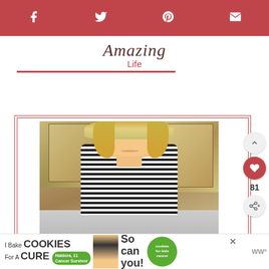Social share bar with Facebook, Twitter, Pinterest, and email icons
Amazing Life
[Figure (photo): A smiling blonde woman in a striped black and white top standing in a kitchen with wood cabinets]
[Figure (infographic): Advertisement banner: 'I Bake COOKIES For A CURE' with Haidora, 11 Cancer Survivor, and 'So can you! cookies for kids cancer' green logo]